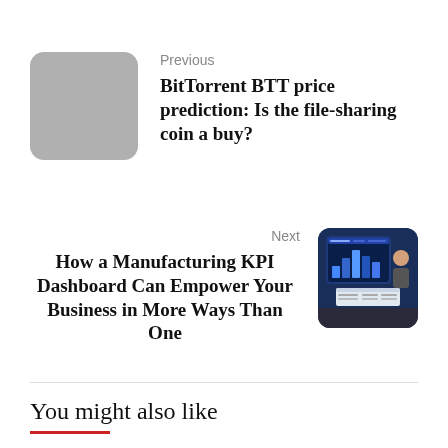Previous
BitTorrent BTT price prediction: Is the file-sharing coin a buy?
[Figure (photo): Gray placeholder thumbnail image for previous article]
Next
How a Manufacturing KPI Dashboard Can Empower Your Business in More Ways Than One
[Figure (screenshot): Screenshot of a manufacturing KPI dashboard on a large screen in a meeting room with people]
You might also like